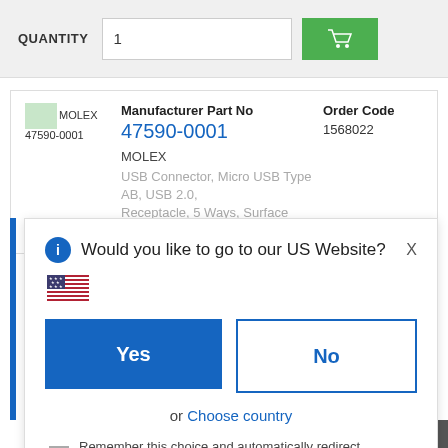QUANTITY  1  [cart button]
[Figure (screenshot): Product listing card showing MOLEX logo placeholder, Manufacturer Part No 47590-0001 (in blue), Order Code 1568022, manufacturer name MOLEX, and partial product description: USB Connector, Micro USB Type AB, USB 2.0, Receptacle, 5 Ways, Surface Mount, Right Angle]
Manufacturer Part No
47590-0001
Order Code
1568022
MOLEX
USB Connector, Micro USB Type AB, USB 2.0, Receptacle, 5 Ways, Surface Mount, Right Angle
Would you like to go to our US Website?
Yes
No
or  Choose country
Remember this choice and automatically redirect me in the future